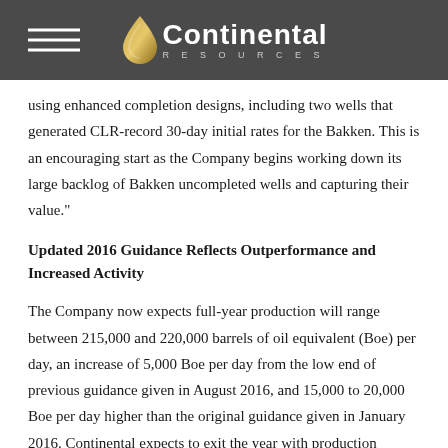Continental Resources
using enhanced completion designs, including two wells that generated CLR-record 30-day initial rates for the Bakken. This is an encouraging start as the Company begins working down its large backlog of Bakken uncompleted wells and capturing their value."
Updated 2016 Guidance Reflects Outperformance and Increased Activity
The Company now expects full-year production will range between 215,000 and 220,000 barrels of oil equivalent (Boe) per day, an increase of 5,000 Boe per day from the low end of previous guidance given in August 2016, and 15,000 to 20,000 Boe per day higher than the original guidance given in January 2016. Continental expects to exit the year with production between 205,000 and 210,000 Boe per day, reflecting 10,000 Boe per day increase from the low end of